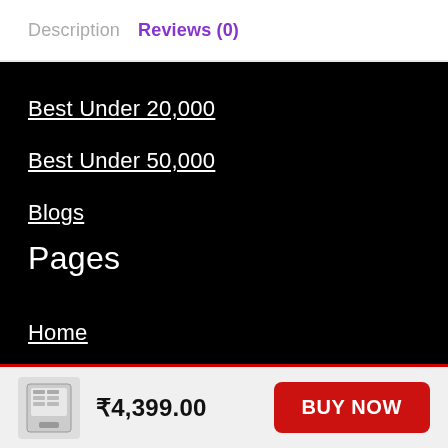Description    Reviews (0)
Best Under 20,000
Best Under 50,000
Blogs
Pages
Home
Privacy Policy
Disclaimer
Contact us
About us
₹4,399.00   BUY NOW